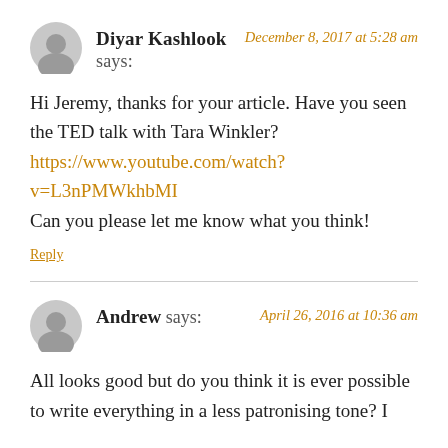Diyar Kashlook says:
December 8, 2017 at 5:28 am
Hi Jeremy, thanks for your article. Have you seen the TED talk with Tara Winkler? https://www.youtube.com/watch?v=L3nPMWkhbMI Can you please let me know what you think!
Reply
Andrew says:
April 26, 2016 at 10:36 am
All looks good but do you think it is ever possible to write everything in a less patronising tone? I